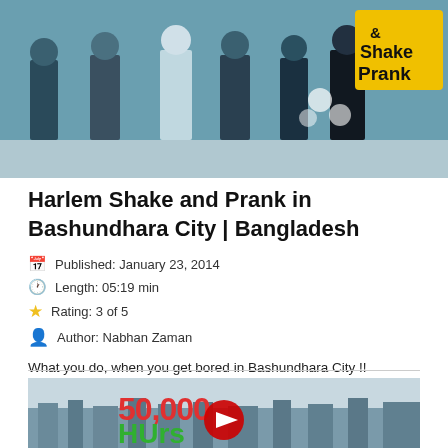[Figure (photo): Group of people standing indoors with a yellow sign showing 'Shake & Prank' text]
Harlem Shake and Prank in Bashundhara City | Bangladesh
Published: January 23, 2014
Length: 05:19 min
Rating: 3 of 5
Author: Nabhan Zaman
What you do, when you get bored in Bashundhara City !!
[Figure (screenshot): Video thumbnail showing '50,000' in red text and 'HUrs' in green text with a YouTube play button, city aerial view in background]